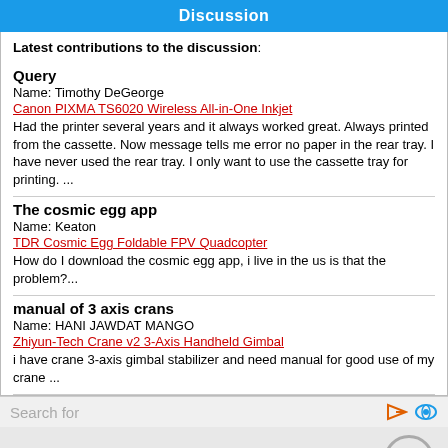Discussion
Latest contributions to the discussion:
Query
Name: Timothy DeGeorge
Canon PIXMA TS6020 Wireless All-in-One Inkjet
Had the printer several years and it always worked great. Always printed from the cassette. Now message tells me error no paper in the rear tray. I have never used the rear tray. I only want to use the cassette tray for printing. ...
The cosmic egg app
Name: Keaton
TDR Cosmic Egg Foldable FPV Quadcopter
How do I download the cosmic egg app, i live in the us is that the problem?...
manual of 3 axis crans
Name: HANI JAWDAT MANGO
Zhiyun-Tech Crane v2 3-Axis Handheld Gimbal
i have crane 3-axis gimbal stabilizer and need manual for good use of my crane ...
Search for
1.  PDF Manual Download